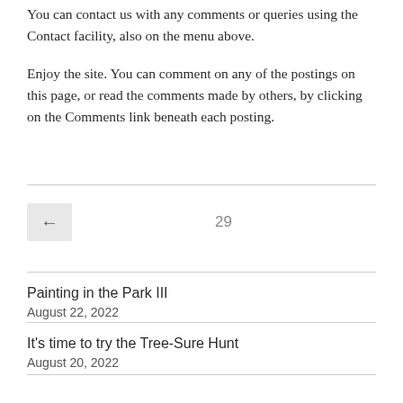You can contact us with any comments or queries using the Contact facility, also on the menu above.
Enjoy the site. You can comment on any of the postings on this page, or read the comments made by others, by clicking on the Comments link beneath each posting.
← 29
Painting in the Park III
August 22, 2022
It's time to try the Tree-Sure Hunt
August 20, 2022